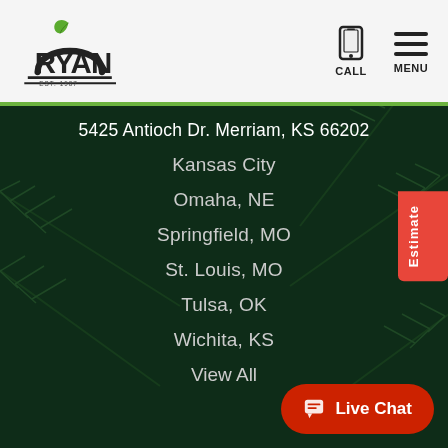[Figure (logo): Ryan Lawn & Tree logo with leaf and arch, EST. 1987]
[Figure (infographic): Phone/call icon with label CALL and hamburger menu icon with label MENU]
5425 Antioch Dr. Merriam, KS 66202
Kansas City
Omaha, NE
Springfield, MO
St. Louis, MO
Tulsa, OK
Wichita, KS
View All
Estimate
Live Chat